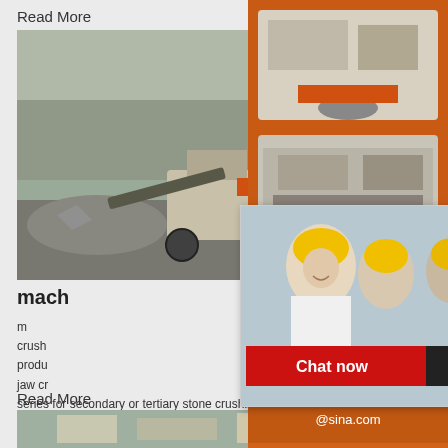Read More
[Figure (photo): Quarry crusher machinery operating at a stone quarry site, grey rock walls visible in background]
mach
m
crush
produ
jaw cr
series for secondary or tertiary stone crushing...
supply the right crusher as well as complete c...
plant to meet your material reduction requirements.
[Figure (photo): Live chat popup with workers in yellow hard hats, LIVE CHAT title in red, Click for a Free Consultation subtitle, Chat now and Chat later buttons]
[Figure (photo): Orange sidebar with crusher machine photos, Enjoy 3% discount bar, Click to Chat bar, Enquiry button, limingjlmofen@sina.com email]
Read More
[Figure (photo): Industrial crushing/screening plant with silos and conveyor equipment]